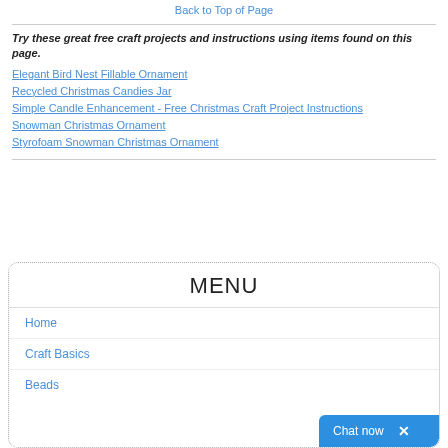Back to Top of Page
Try these great free craft projects and instructions using items found on this page.
Elegant Bird Nest Fillable Ornament
Recycled Christmas Candies Jar
Simple Candle Enhancement - Free Christmas Craft Project Instructions
Snowman Christmas Ornament
Styrofoam Snowman Christmas Ornament
MENU
Home
Craft Basics
Beads